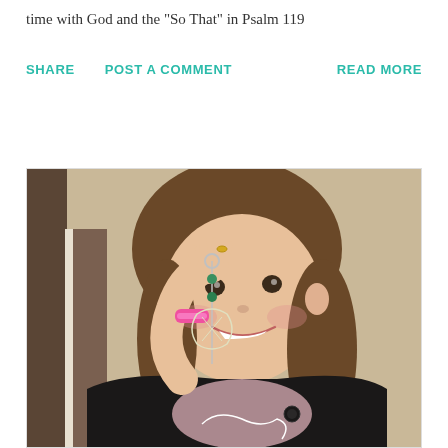time with God and the "So That" in Psalm 119
SHARE   POST A COMMENT   READ MORE
[Figure (photo): A young girl with short brown hair, wearing a black long-sleeve shirt, smiling and holding up a small decorative keychain or ornament. She has a bright smile and a pink bracelet on her wrist.]